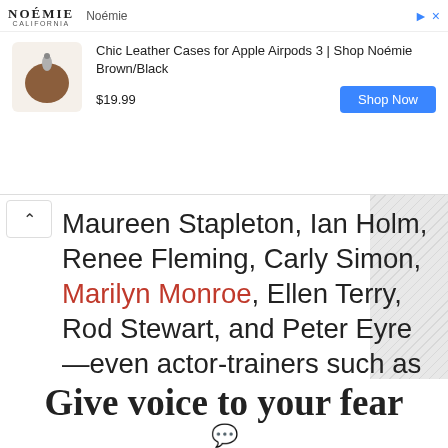[Figure (screenshot): Advertisement banner for Noémie: Chic Leather Cases for Apple Airpods 3, $19.99, Shop Now button]
Maureen Stapleton, Ian Holm, Renee Fleming, Carly Simon, Marilyn Monroe, Ellen Terry, Rod Stewart, and Peter Eyre—even actor-trainers such as Lee Strasberg and Konstantin Stanislavsky—have suffered from varying degrees of stage fear.
Fear is a universal problem.
Give voice to your fear